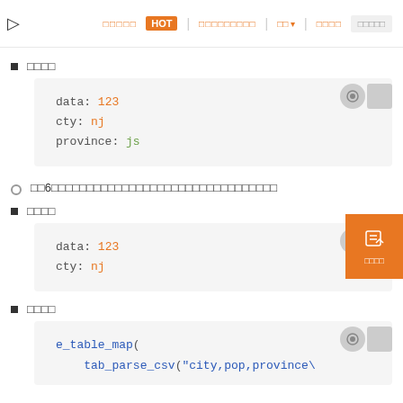▷  aaaaa HOT | aaaaaaaaa | aa ∨ | aaaa | aaaaa
aaaa
[Figure (screenshot): Code block showing: data: 123, cty: nj, province: js]
aa6aaaaaaaaaaaaaaaaaaaaaaaaaaaaaaaaaaaa
aaaa
[Figure (screenshot): Code block showing: data: 123, cty: nj]
aaaa
[Figure (screenshot): Code block showing: e_table_map( tab_parse_csv("city,pop,province\]